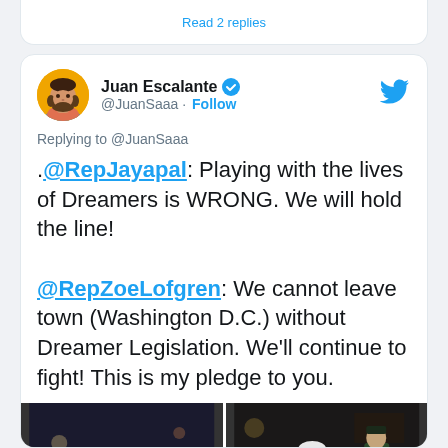Read 2 replies
[Figure (screenshot): Twitter profile avatar of Juan Escalante - man with beard, yellow background]
Juan Escalante @JuanSaaa · Follow
Replying to @JuanSaaa
.@RepJayapal: Playing with the lives of Dreamers is WRONG. We will hold the line!

@RepZoeLofgren: We cannot leave town (Washington D.C.) without Dreamer Legislation. We'll continue to fight! This is my pledge to you.
[Figure (photo): Two side-by-side photos of politicians speaking at a nighttime event, one holding a megaphone, one holding a red folder]